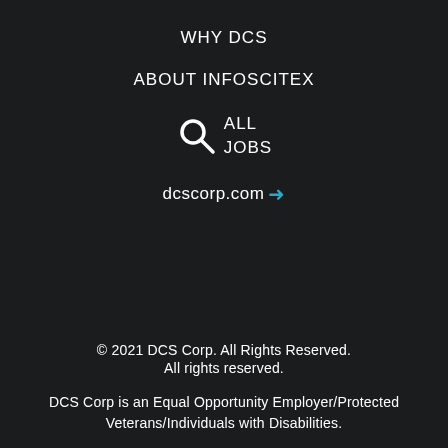WHY DCS
ABOUT INFOSCITEX
ALL JOBS
dcscorp.com →
© 2021 DCS Corp. All Rights Reserved. All rights reserved.
DCS Corp is an Equal Opportunity Employer/Protected Veterans/Individuals with Disabilities.